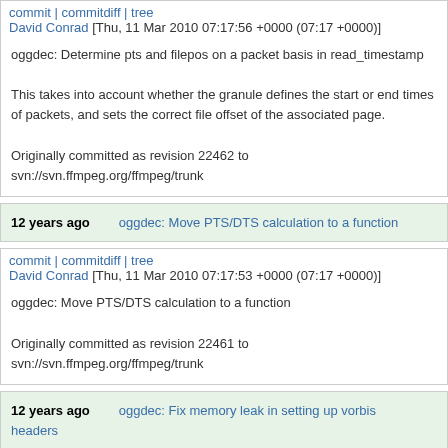commit | commitdiff | tree
David Conrad [Thu, 11 Mar 2010 07:17:56 +0000 (07:17 +0000)]
oggdec: Determine pts and filepos on a packet basis in read_timestamp

This takes into account whether the granule defines the start or end times of packets, and sets the correct file offset of the associated page.

Originally committed as revision 22462 to svn://svn.ffmpeg.org/ffmpeg/trunk
12 years ago    oggdec: Move PTS/DTS calculation to a function
commit | commitdiff | tree
David Conrad [Thu, 11 Mar 2010 07:17:53 +0000 (07:17 +0000)]
oggdec: Move PTS/DTS calculation to a function

Originally committed as revision 22461 to svn://svn.ffmpeg.org/ffmpeg/trunk
12 years ago    oggdec: Fix memory leak in setting up vorbis headers